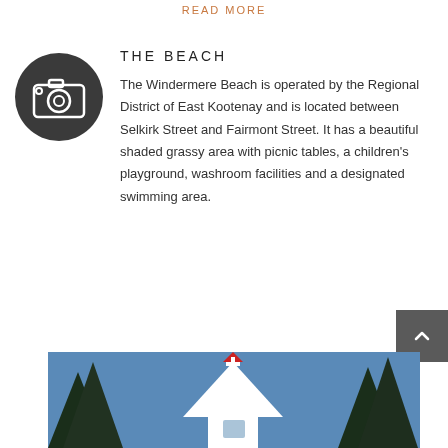READ MORE
[Figure (illustration): Dark circular icon with a white camera symbol]
THE BEACH
The Windermere Beach is operated by the Regional District of East Kootenay and is located between Selkirk Street and Fairmont Street. It has a beautiful shaded grassy area with picnic tables, a children's playground, washroom facilities and a designated swimming area.
[Figure (photo): Photograph showing a white church steeple with a red roof cross, framed by dark evergreen trees against a blue sky]